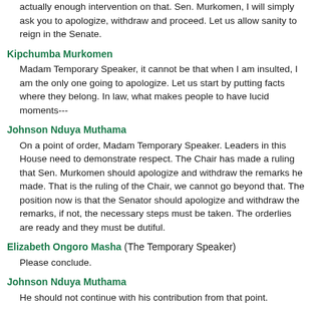actually enough intervention on that. Sen. Murkomen, I will simply ask you to apologize, withdraw and proceed. Let us allow sanity to reign in the Senate.
Kipchumba Murkomen
Madam Temporary Speaker, it cannot be that when I am insulted, I am the only one going to apologize. Let us start by putting facts where they belong. In law, what makes people to have lucid moments---
Johnson Nduya Muthama
On a point of order, Madam Temporary Speaker. Leaders in this House need to demonstrate respect. The Chair has made a ruling that Sen. Murkomen should apologize and withdraw the remarks he made. That is the ruling of the Chair, we cannot go beyond that. The position now is that the Senator should apologize and withdraw the remarks, if not, the necessary steps must be taken. The orderlies are ready and they must be dutiful.
Elizabeth Ongoro Masha (The Temporary Speaker)
Please conclude.
Johnson Nduya Muthama
He should not continue with his contribution from that point.